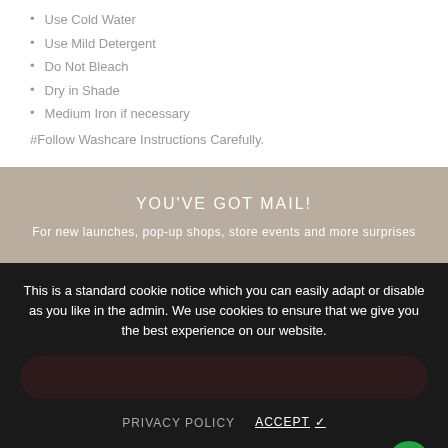Use Cold Water
Use Mild Detergent
Do Not Bleach
Dry in Shade
Medium Iron if necessary
#Follow Washcare Instructions Carefully.
YOU'VE GOT MAIL!
For new launches, pop-up shops, store events and more surprises
This is a standard cookie notice which you can easily adapt or disable as you like in the admin. We use cookies to ensure that we give you the best experience on our website.
PRIVACY POLICY   ACCEPT ✓
$ 7.00
SOLD OUT